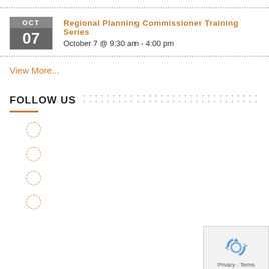OCT 07 Regional Planning Commissioner Training Series October 7 @ 9:30 am - 4:00 pm
View More...
FOLLOW US
[Figure (logo): reCAPTCHA privacy icon with recycling symbol arrows in blue, with Privacy - Terms text below]